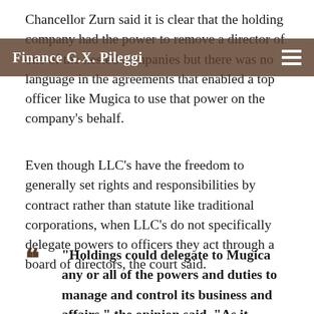Chancellor Zurn said it is clear that the holding company had the power to remove a director of one of the nested companies but there was no language in the agreements that enabled a top officer like Mugica to use that power on the company's behalf.
Finance G.X. Pileggi
Even though LLC's have the freedom to generally set rights and responsibilities by contract rather than statute like traditional corporations, when LLC's do not specifically delegate powers to officers they act through a board of directors, the court said.
“Holdings could delegate to Mugica any or all of the powers and duties to manage and control its business and affairs,” the opinion said. “As it happened, Holdings granted plenary power to its board, and only limited authority to Mugica, as